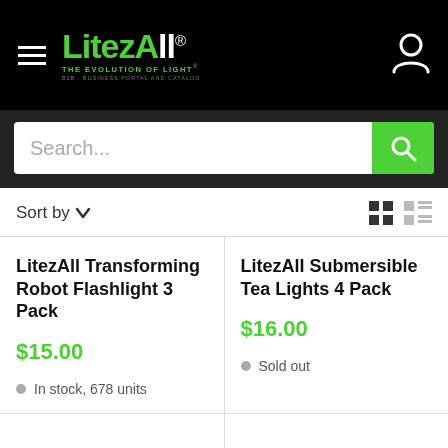[Figure (logo): LitezAll logo — THE EVOLUTION OF LIGHT, B2B Business Portal and Catalog]
Search...
Sort by
LitezAll Transforming Robot Flashlight 3 Pack
$15.00
In stock, 678 units
LitezAll Submersible Tea Lights 4 Pack
$16.00
Sold out